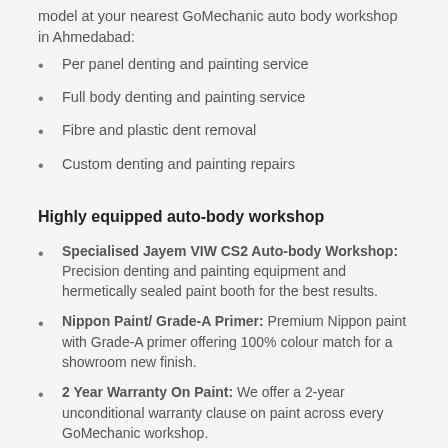model at your nearest GoMechanic auto body workshop in Ahmedabad:
Per panel denting and painting service
Full body denting and painting service
Fibre and plastic dent removal
Custom denting and painting repairs
Highly equipped auto-body workshop
Specialised Jayem VIW CS2 Auto-body Workshop: Precision denting and painting equipment and hermetically sealed paint booth for the best results.
Nippon Paint/ Grade-A Primer: Premium Nippon paint with Grade-A primer offering 100% colour match for a showroom new finish.
2 Year Warranty On Paint: We offer a 2-year unconditional warranty clause on paint across every GoMechanic workshop.